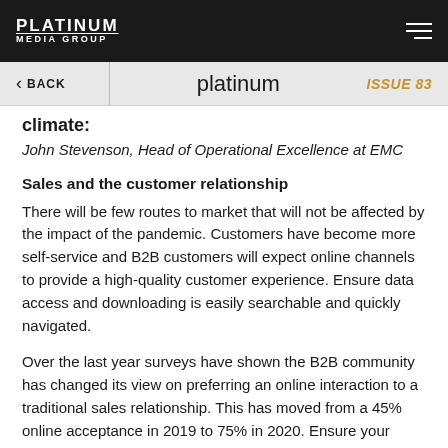PLATINUM MEDIA GROUP
< BACK | platinum | ISSUE 83
climate:
John Stevenson, Head of Operational Excellence at EMC
Sales and the customer relationship
There will be few routes to market that will not be affected by the impact of the pandemic. Customers have become more self-service and B2B customers will expect online channels to provide a high-quality customer experience. Ensure data access and downloading is easily searchable and quickly navigated.
Over the last year surveys have shown the B2B community has changed its view on preferring an online interaction to a traditional sales relationship. This has moved from a 45% online acceptance in 2019 to 75% in 2020. Ensure your business has appropriate digital tools,